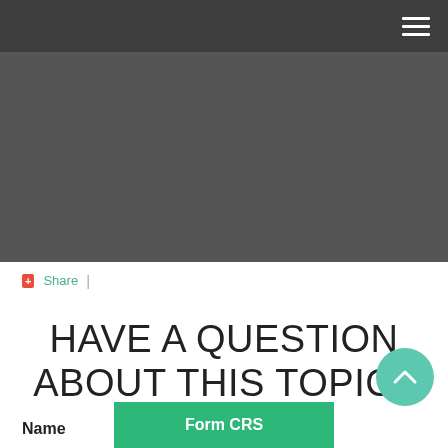Navigation menu (hamburger icon)
[Figure (photo): Dark gray hero banner image area]
Share |
HAVE A QUESTION ABOUT THIS TOPIC?
Name
Form CRS